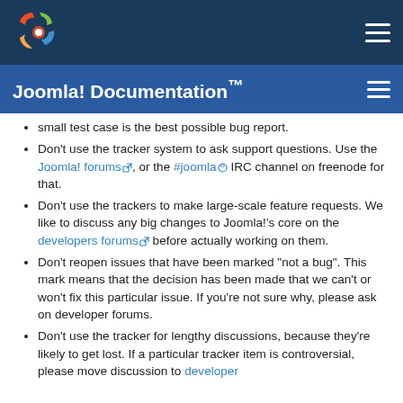Joomla! Documentation™
small test case is the best possible bug report.
Don't use the tracker system to ask support questions. Use the Joomla! forums, or the #joomla IRC channel on freenode for that.
Don't use the trackers to make large-scale feature requests. We like to discuss any big changes to Joomla!'s core on the developers forums before actually working on them.
Don't reopen issues that have been marked "not a bug". This mark means that the decision has been made that we can't or won't fix this particular issue. If you're not sure why, please ask on developer forums.
Don't use the tracker for lengthy discussions, because they're likely to get lost. If a particular tracker item is controversial, please move discussion to developer